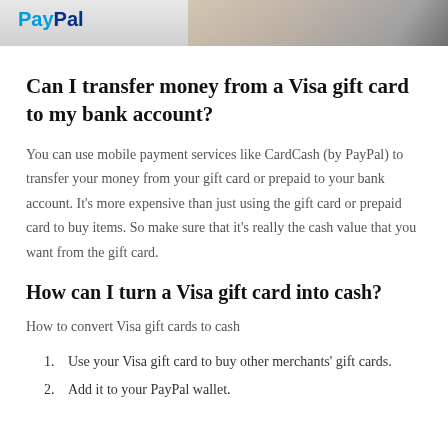[Figure (photo): Top banner image showing a hand and PayPal logo on a grey/beige background]
Can I transfer money from a Visa gift card to my bank account?
You can use mobile payment services like CardCash (by PayPal) to transfer your money from your gift card or prepaid to your bank account. It’s more expensive than just using the gift card or prepaid card to buy items. So make sure that it’s really the cash value that you want from the gift card.
How can I turn a Visa gift card into cash?
How to convert Visa gift cards to cash
Use your Visa gift card to buy other merchants’ gift cards.
Add it to your PayPal wallet.